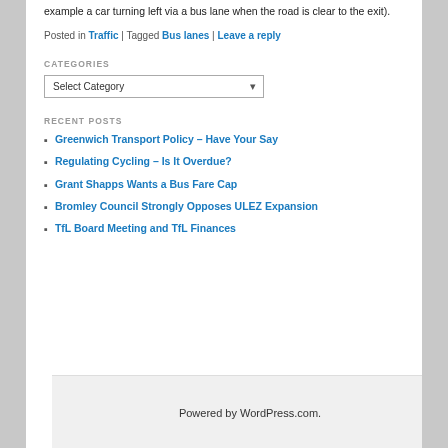example a car turning left via a bus lane when the road is clear to the exit).
Posted in Traffic | Tagged Bus lanes | Leave a reply
CATEGORIES
Select Category
RECENT POSTS
Greenwich Transport Policy – Have Your Say
Regulating Cycling – Is It Overdue?
Grant Shapps Wants a Bus Fare Cap
Bromley Council Strongly Opposes ULEZ Expansion
TfL Board Meeting and TfL Finances
Powered by WordPress.com.